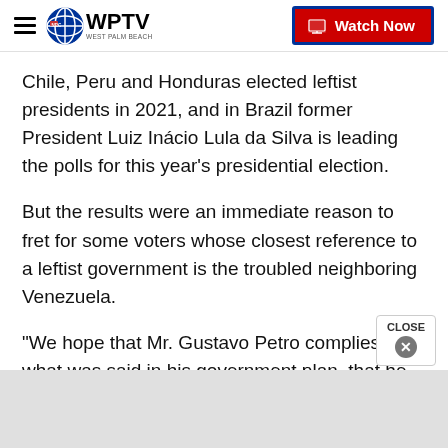WPTV West Palm Beach — Watch Now
Chile, Peru and Honduras elected leftist presidents in 2021, and in Brazil former President Luiz Inácio Lula da Silva is leading the polls for this year's presidential election.
But the results were an immediate reason to fret for some voters whose closest reference to a leftist government is the troubled neighboring Venezuela.
"We hope that Mr. Gustavo Petro complies with what was said in his government plan, that he leads this country to greatness, which we need so much, and